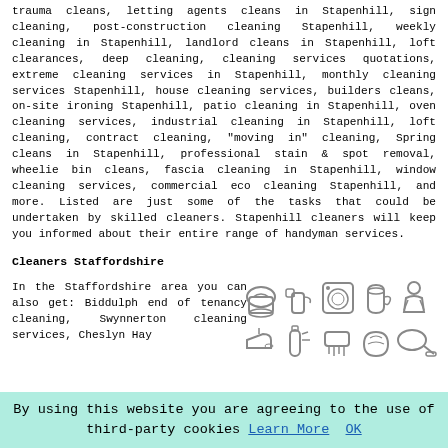trauma cleans, letting agents cleans in Stapenhill, sign cleaning, post-construction cleaning Stapenhill, weekly cleaning in Stapenhill, landlord cleans in Stapenhill, loft clearances, deep cleaning, cleaning services quotations, extreme cleaning services in Stapenhill, monthly cleaning services Stapenhill, house cleaning services, builders cleans, on-site ironing Stapenhill, patio cleaning in Stapenhill, oven cleaning services, industrial cleaning in Stapenhill, loft cleaning, contract cleaning, "moving in" cleaning, Spring cleans in Stapenhill, professional stain & spot removal, wheelie bin cleans, fascia cleaning in Stapenhill, window cleaning services, commercial eco cleaning Stapenhill, and more. Listed are just some of the tasks that could be undertaken by skilled cleaners. Stapenhill cleaners will keep you informed about their entire range of handyman services.
Cleaners Staffordshire
In the Staffordshire area you can also get: Biddulph end of tenancy cleaning, Swynnerton cleaning services, Cheslyn Hay...
[Figure (illustration): Grid of cleaning service icons: bucket, spray bottle, washing machine, kettle/iron, person cleaning, iron, bottle, scrubbing brush, sponge/cloth, vacuum cleaner]
By using this website you are agreeing to the use of third-party cookies Learn More OK